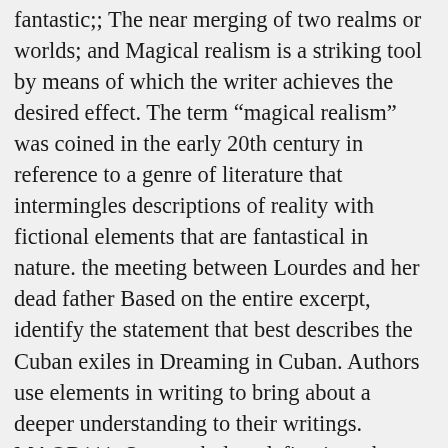fantastic;; The near merging of two realms or worlds; and Magical realism is a striking tool by means of which the writer achieves the desired effect. The term “magical realism” was coined in the early 20th century in reference to a genre of literature that intermingles descriptions of reality with fictional elements that are fantastical in nature. the meeting between Lourdes and her dead father Based on the entire excerpt, identify the statement that best describes the Cuban exiles in Dreaming in Cuban. Authors use elements in writing to bring about a deeper understanding to their writings. MAOR111. Some scholars define it as the logical outcome of postcolonial writing. Magical realism brings together elements of fables, myths and fantastical traits or skills. While magical realist stories from around the world can vary greatly in tone, context and content, they share some common elements. On one hand, it’s a design trend referring to the incorporation of magical, supernatural, or just fantastical